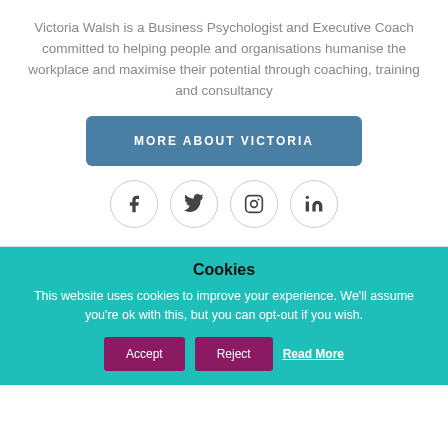Victoria Walsh is a Business Psychologist and Executive Coach committed to helping people and organisations humanise the workplace and maximise their potential through coaching, training and consultancy
[Figure (other): Button labeled MORE ABOUT VICTORIA in steel blue with rounded corners]
[Figure (other): Row of four social media icon circles: Facebook, Twitter, Instagram, LinkedIn]
Cookies
This website uses cookies to improve your experience. We'll assume you're ok with this, but you can opt-out if you wish.
[Figure (other): Three action buttons: Accept, Reject, Read More on teal background]